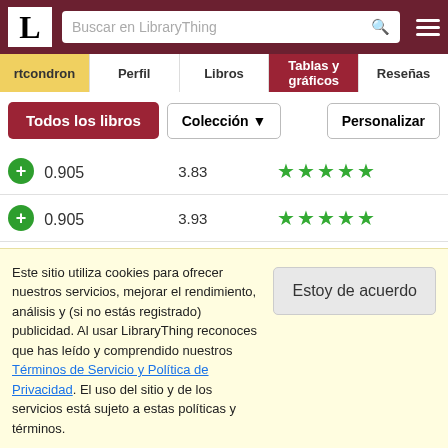LibraryThing - Buscar en LibraryThing
rtcondron | Perfil | Libros | Tablas y gráficos | Reseñas
Todos los libros | Colección | Personalizar
| Score | Rating | Stars |
| --- | --- | --- |
| 0.905 | 3.83 | ★★★★★ |
| 0.905 | 3.93 | ★★★★★ |
| 0.902 | 3.54 | ★★★ |
| 0.9 | 3.76 | ★★★★★ |
Este sitio utiliza cookies para ofrecer nuestros servicios, mejorar el rendimiento, análisis y (si no estás registrado) publicidad. Al usar LibraryThing reconoces que has leído y comprendido nuestros Términos de Servicio y Política de Privacidad. El uso del sitio y de los servicios está sujeto a estas políticas y términos.